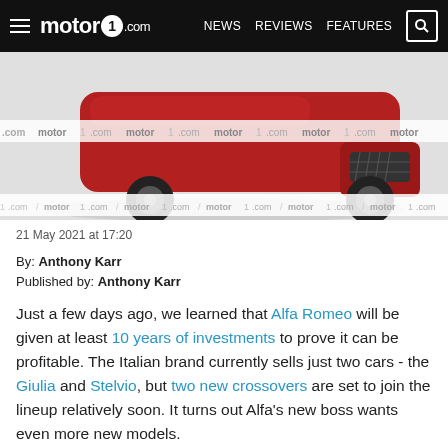motor1.com  NEWS  REVIEWS  FEATURES
[Figure (photo): Red Alfa Romeo sports car front/lower view with watermark strips showing motor1.com logo repeated]
21 May 2021 at 17:20
By: Anthony Karr
Published by: Anthony Karr
Just a few days ago, we learned that Alfa Romeo will be given at least 10 years of investments to prove it can be profitable. The Italian brand currently sells just two cars - the Giulia and Stelvio, but two new crossovers are set to join the lineup relatively soon. It turns out Alfa's new boss wants even more new models.